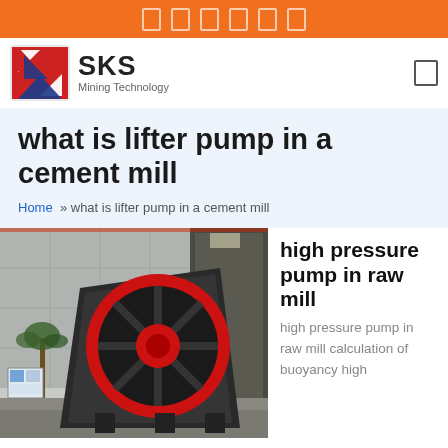SKS Mining Technology
what is lifter pump in a cement mill
Home » what is lifter pump in a cement mill
[Figure (photo): Industrial jaw crusher machine with large red circular flywheel, photographed outdoors in front of a warehouse building]
high pressure pump in raw mill
high pressure pump in raw mill calculation of buoyancy high